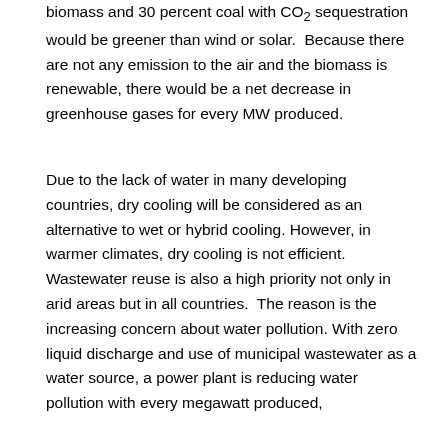biomass and 30 percent coal with CO2 sequestration would be greener than wind or solar. Because there are not any emission to the air and the biomass is renewable, there would be a net decrease in greenhouse gases for every MW produced.
Due to the lack of water in many developing countries, dry cooling will be considered as an alternative to wet or hybrid cooling. However, in warmer climates, dry cooling is not efficient. Wastewater reuse is also a high priority not only in arid areas but in all countries. The reason is the increasing concern about water pollution. With zero liquid discharge and use of municipal wastewater as a water source, a power plant is reducing water pollution with every megawatt produced,